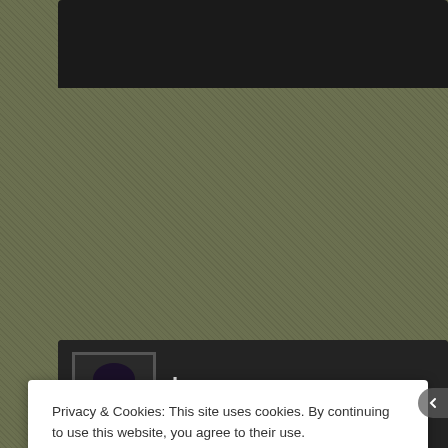[Figure (screenshot): Website screenshot showing a blog comment section with dark theme. User 'bawa' with anime-style avatar posted on June 22, 2010 at 2:48 pm. Partial comment text visible: 'I understand the subtitling problems (have to keep the translation look at this might make people who don't understand Urdu why th'. A cookie consent overlay appears in the lower portion: 'Privacy & Cookies: This site uses cookies. By continuing to use this website, you agree to their use. To find out more, including how to control cookies, see here: Cookie Policy' with a 'Close and accept' button.]